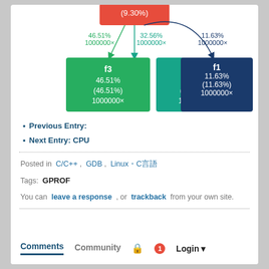[Figure (flowchart): Call graph showing a red root node at top (9.30%) with arrows to three colored child nodes: f3 (green, 46.51%, 1000000x), f2 (teal, 32.56%, 1000000x), f1 (dark blue, 11.63%, 1000000x). Percentages shown on arrows as well.]
Previous Entry: 日本語テキスト
Next Entry: CPU日本語テキスト
Posted in  C/C++ ,  GDB ,  Linux・C言語
Tags:  GPROF
You can leave a response , or trackback from your own site.
Comments   Community   🔒  1  Login